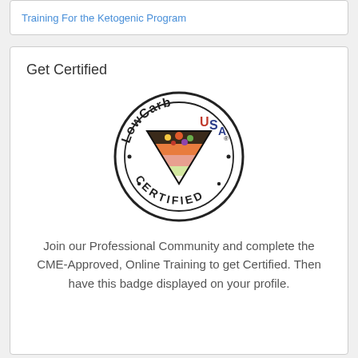Training For the Ketogenic Program
Get Certified
[Figure (logo): LowCarbUSA Certified circular badge logo with a downward-pointing triangle containing colorful food images, surrounded by text 'LowCarbUSA' on top and 'CERTIFIED' on the bottom, with dots as separators]
Join our Professional Community and complete the CME-Approved, Online Training to get Certified. Then have this badge displayed on your profile.